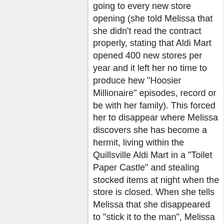going to every new store opening (she told Melissa that she didn't read the contract properly, stating that Aldi Mart opened 400 new stores per year and it left her no time to produce hew "Hoosier Millionaire" episodes, record or be with her family). This forced her to disappear where Melissa discovers she has become a hermit, living within the Quillsville Aldi Mart in a "Toilet Paper Castle" and stealing stocked items at night when the store is closed. When she tells Melissa that she disappeared to "stick it to the man", Melissa decides to keep her secret and Hobbs goes on living in the store undetected. In Season 7, Hobbs is replaced by Crystal Gayle as the spokesperson for AldiMart.